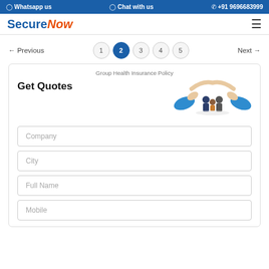Whatsapp us   Chat with us   +91 9696683999
[Figure (logo): SecureNow logo with blue S and orange italic Now]
← Previous   1  2  3  4  5   Next →
Group Health Insurance Policy
Get Quotes
[Figure (illustration): Illustration of two hands protecting a family group (two adults and a child) with blue accents]
Company
City
Full Name
Mobile